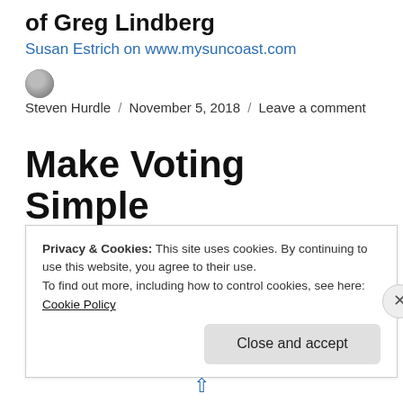of Greg Lindberg
Susan Estrich on www.mysuncoast.com
Steven Hurdle / November 5, 2018 / Leave a comment
Make Voting Simple
[There is a lengthier version of this article available here.]
Privacy & Cookies: This site uses cookies. By continuing to use this website, you agree to their use.
To find out more, including how to control cookies, see here:
Cookie Policy
Close and accept